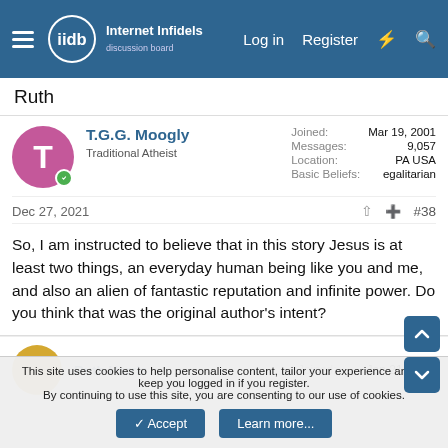Internet Infidels — Log in  Register
Ruth
T.G.G. Moogly
Traditional Atheist
Joined: Mar 19, 2001
Messages: 9,057
Location: PA USA
Basic Beliefs: egalitarian
Dec 27, 2021  #38
So, I am instructed to believe that in this story Jesus is at least two things, an everyday human being like you and me, and also an alien of fantastic reputation and infinite power. Do you think that was the original author's intent?
Ruth Harris  Joined:  Jan 21, 2004
This site uses cookies to help personalise content, tailor your experience and to keep you logged in if you register.
By continuing to use this site, you are consenting to our use of cookies.